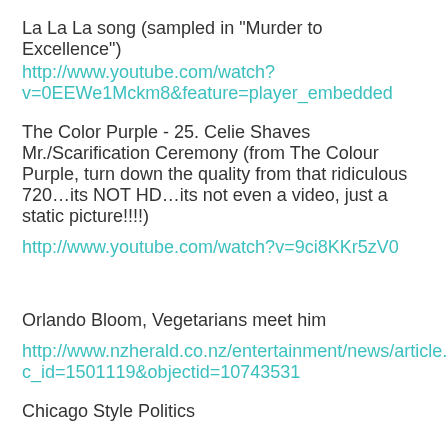La La La song (sampled in "Murder to Excellence")
http://www.youtube.com/watch?v=0EEWe1Mckm8&feature=player_embedded
The Color Purple - 25. Celie Shaves Mr./Scarification Ceremony (from The Colour Purple, turn down the quality from that ridiculous 720…its NOT HD…its not even a video, just a static picture!!!!)
http://www.youtube.com/watch?v=9ci8KKr5zV0
Orlando Bloom, Vegetarians meet him
http://www.nzherald.co.nz/entertainment/news/article.cfm?c_id=1501119&objectid=10743531
Chicago Style Politics